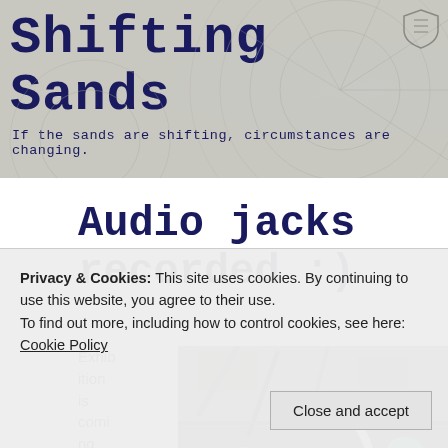Shifting Sands
If the sands are shifting, circumstances are changing.
Audio jacks recorded :)
Exhibition is coming
[Figure (photo): Close-up photo of mechanical/audio equipment with teal/turquoise decorative elements on dark metal surfaces]
Privacy & Cookies: This site uses cookies. By continuing to use this website, you agree to their use.
To find out more, including how to control cookies, see here: Cookie Policy
Close and accept